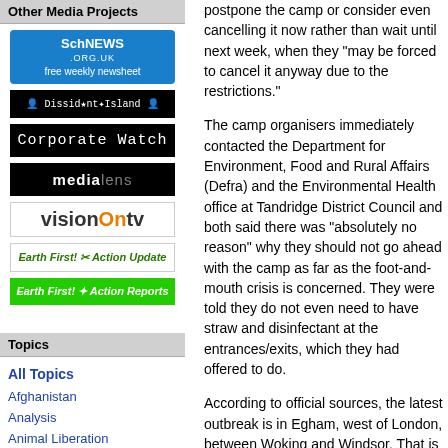Other Media Projects
[Figure (logo): SchNEWS.org.uk free weekly newsheet logo - blue background]
[Figure (logo): Dissident Island logo - black background with monospace text]
[Figure (logo): Corporate Watch logo - black background with monospace text]
[Figure (logo): medialens logo - black background]
[Figure (logo): visionOntv logo - white background with orange accent]
[Figure (logo): Earth First! Action Update logo - white/green text]
[Figure (logo): Earth First! Action Reports logo - green background]
Topics
All Topics
Afghanistan
Analysis
Animal Liberation
Anti-Nuclear
Anti-militarism
Anti-racism
postpone the camp or consider even cancelling it now rather than wait until next week, when they "may be forced to cancel it anyway due to the restrictions."
The camp organisers immediately contacted the Department for Environment, Food and Rural Affairs (Defra) and the Environmental Health office at Tandridge District Council and both said there was "absolutely no reason" why they should not go ahead with the camp as far as the foot-and-mouth crisis is concerned. They were told they do not even need to have straw and disinfectant at the entrances/exits, which they had offered to do.
According to official sources, the latest outbreak is in Egham, west of London, between Woking and Windsor. That is about 50km away from the camp and the whole of central London is closer to the outbreak than the camp site.